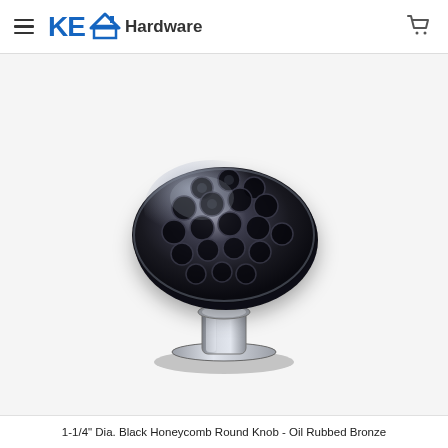KE Hardware
[Figure (photo): Black Honeycomb Round Knob with Oil Rubbed Bronze finish, circular hammered/dimpled top surface, two-tone dark black and chrome metallic finish, mounted on a short pedestal base, photographed on white/light grey background.]
1-1/4" Dia. Black Honeycomb Round Knob - Oil Rubbed Bronze